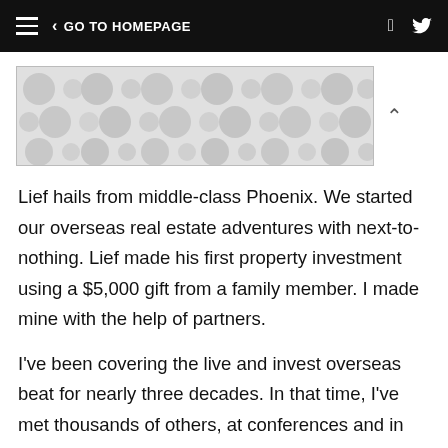GO TO HOMEPAGE
[Figure (illustration): Decorative banner image with repeating circular dot/bubble pattern in light gray tones]
Lief hails from middle-class Phoenix. We started our overseas real estate adventures with next-to-nothing. Lief made his first property investment using a $5,000 gift from a family member. I made mine with the help of partners.
I've been covering the live and invest overseas beat for nearly three decades. In that time, I've met thousands of others, at conferences and in my travels, who, likewise, have built adventure-filled lives that include real estate holdings overseas, and I can't think of one of them who I'd